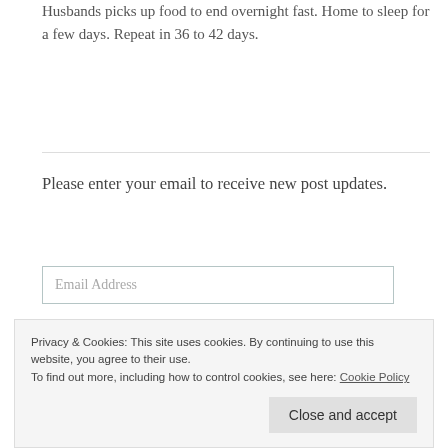Husbands picks up food to end overnight fast. Home to sleep for a few days. Repeat in 36 to 42 days.
Please enter your email to receive new post updates.
Email Address
Privacy & Cookies: This site uses cookies. By continuing to use this website, you agree to their use.
To find out more, including how to control cookies, see here: Cookie Policy
Close and accept